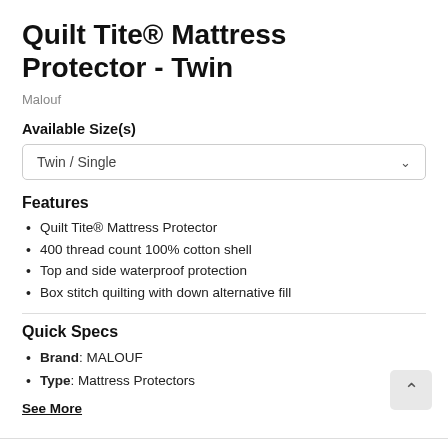Quilt Tite® Mattress Protector - Twin
Malouf
Available Size(s)
Twin / Single
Features
Quilt Tite® Mattress Protector
400 thread count 100% cotton shell
Top and side waterproof protection
Box stitch quilting with down alternative fill
Quick Specs
Brand: MALOUF
Type: Mattress Protectors
See More